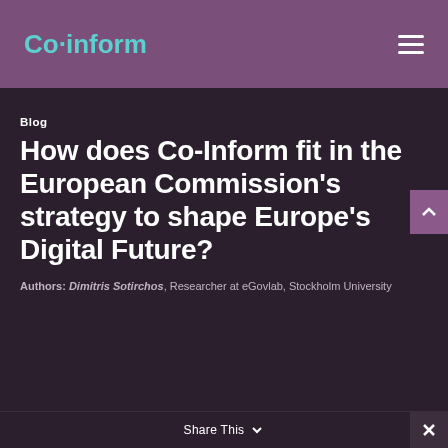Co-inform
Blog
How does Co-Inform fit in the European Commission's strategy to shape Europe's Digital Future?
Authors: Dimitris Sotirchos, Researcher at eGovlab, Stockholm University
Share This